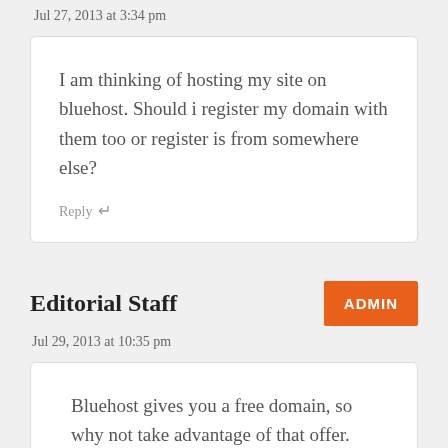Jul 27, 2013 at 3:34 pm
I am thinking of hosting my site on bluehost. Should i register my domain with them too or register is from somewhere else?
Reply
Editorial Staff
ADMIN
Jul 29, 2013 at 10:35 pm
Bluehost gives you a free domain, so why not take advantage of that offer.